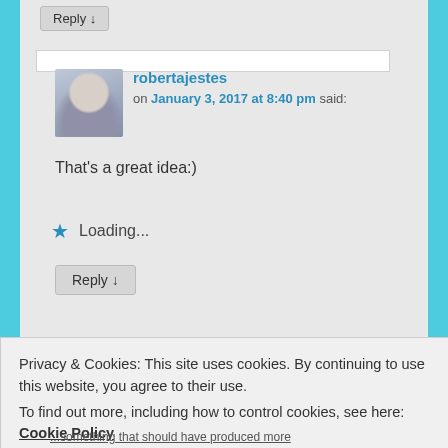Reply ↓
robertajestes on January 3, 2017 at 8:40 pm said:
That's a great idea:)
Loading...
Reply ↓
Privacy & Cookies: This site uses cookies. By continuing to use this website, you agree to their use.
To find out more, including how to control cookies, see here: Cookie Policy
Close and accept
…something that should have produced more